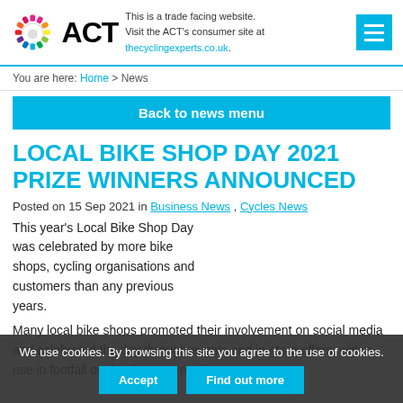ACT logo — This is a trade facing website. Visit the ACT's consumer site at thecyclingexperts.co.uk.
You are here: Home > News
Back to news menu
LOCAL BIKE SHOP DAY 2021 PRIZE WINNERS ANNOUNCED
Posted on 15 Sep 2021 in Business News , Cycles News
This year's Local Bike Shop Day was celebrated by more bike shops, cycling organisations and customers than any previous years.
Many local bike shops promoted their involvement on social media and celebrated the day through events and in-store offers, with a rise in footfall on the day as a result.
We use cookies. By browsing this site you agree to the use of cookies.